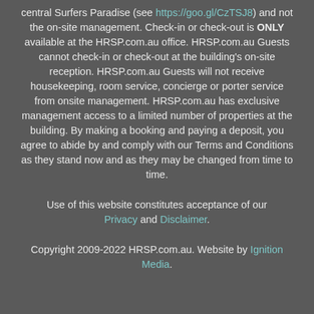central Surfers Paradise (see https://goo.gl/CzTSJ8) and not the on-site management. Check-in or check-out is ONLY available at the HRSP.com.au office. HRSP.com.au Guests cannot check-in or check-out at the building's on-site reception. HRSP.com.au Guests will not receive housekeeping, room service, concierge or porter service from onsite management. HRSP.com.au has exclusive management access to a limited number of properties at the building. By making a booking and paying a deposit, you agree to abide by and comply with our Terms and Conditions as they stand now and as they may be changed from time to time.
Use of this website constitutes acceptance of our Privacy and Disclaimer.
Copyright 2009-2022 HRSP.com.au. Website by Ignition Media.